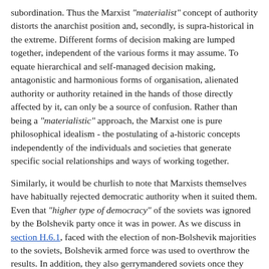subordination. Thus the Marxist "materialist" concept of authority distorts the anarchist position and, secondly, is supra-historical in the extreme. Different forms of decision making are lumped together, independent of the various forms it may assume. To equate hierarchical and self-managed decision making, antagonistic and harmonious forms of organisation, alienated authority or authority retained in the hands of those directly affected by it, can only be a source of confusion. Rather than being a "materialistic" approach, the Marxist one is pure philosophical idealism - the postulating of a-historic concepts independently of the individuals and societies that generate specific social relationships and ways of working together.
Similarly, it would be churlish to note that Marxists themselves have habitually rejected democratic authority when it suited them. Even that "higher type of democracy" of the soviets was ignored by the Bolshevik party once it was in power. As we discuss in section H.6.1, faced with the election of non-Bolshevik majorities to the soviets, Bolshevik armed force was used to overthrow the results. In addition, they also gerrymandered soviets once they could no longer count on an electoral majority. In the workplace, the Bolsheviks replaced workers' economic democracy with "one-man management" appointed from above, by the state, armed with "dictatorial power" (see section H.3.14). As discussed in section H.3.8, the Bolsheviks generalised their experiences exercising